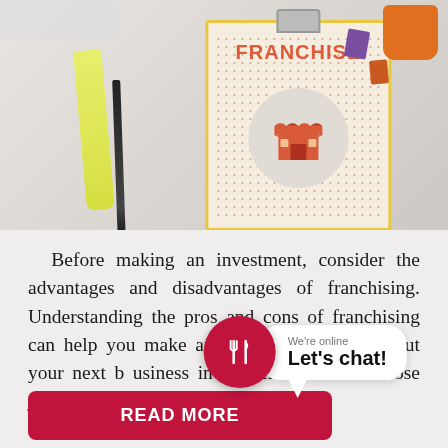[Figure (photo): Overhead photo of a clipboard with 'FRANCHISE' text and a store icon, surrounded by a highlighter, pen, binder clips, and a coffee cup on a light gray background.]
Before making an investment, consider the advantages and disadvantages of franchising. Understanding the pros and cons of franchising can help you make an informed decision about your next b[usiness investment]. Americans lose jobs t[o franchising].
We're online
Let's chat!
READ MORE